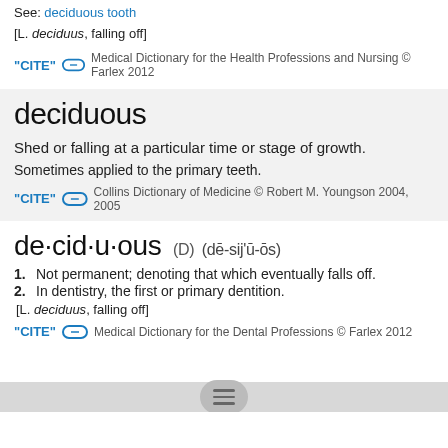See: deciduous tooth
[L. deciduus, falling off]
"CITE" [link icon]  Medical Dictionary for the Health Professions and Nursing © Farlex 2012
deciduous  Shed or falling at a particular time or stage of growth.
Sometimes applied to the primary teeth.
"CITE" [link icon]  Collins Dictionary of Medicine © Robert M. Youngson 2004, 2005
de·cid·u·ous (D) (dē-sij'ū-ōs)
1. Not permanent; denoting that which eventually falls off.
2. In dentistry, the first or primary dentition.
[L. deciduus, falling off]
"CITE" [link icon]  Medical Dictionary for the Dental Professions © Farlex 2012